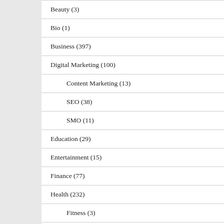Beauty (3)
Bio (1)
Business (397)
Digital Marketing (100)
Content Marketing (13)
SEO (38)
SMO (11)
Education (29)
Entertainment (15)
Finance (77)
Health (232)
Fitness (3)